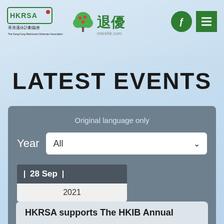[Figure (logo): HKRSA logo with Chinese text 香港退休計劃協會 and English text The Hong Kong Retirement Schemes Association inside a green border box]
[Figure (logo): retirehk.com logo with green tree icon and Chinese character 退優]
[Figure (logo): Two green navigation icon buttons - circular search icon and square menu icon]
LATEST EVENTS
Original language only
Year   All
28 Sep
2021
HKRSA supports The HKIB Annual